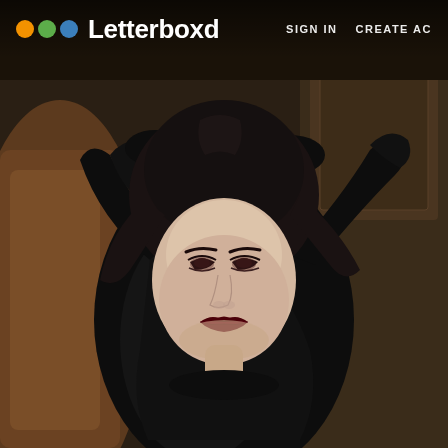[Figure (photo): A woman with dark hair wearing a shiny black latex outfit, posed reclined on a brown leather chair. Her arms are raised behind her head. She has pale skin, dark eye makeup, and dark red lipstick. The background suggests an ornate interior setting.]
Letterboxd   SIGN IN   CREATE ACCOUNT